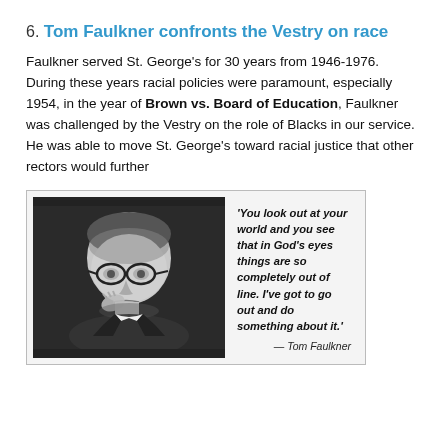6. Tom Faulkner confronts the Vestry on race
Faulkner served St. George's for 30 years from 1946-1976. During these years racial policies were paramount, especially 1954, in the year of Brown vs. Board of Education, Faulkner was challenged by the Vestry on the role of Blacks in our service. He was able to move St. George's toward racial justice that other rectors would further
[Figure (photo): Black and white portrait photo of Tom Faulkner, a man wearing glasses, with hand near his face, alongside a bold italic quote: 'You look out at your world and you see that in God's eyes things are so completely out of line. I've got to go out and do something about it.' — Tom Faulkner]